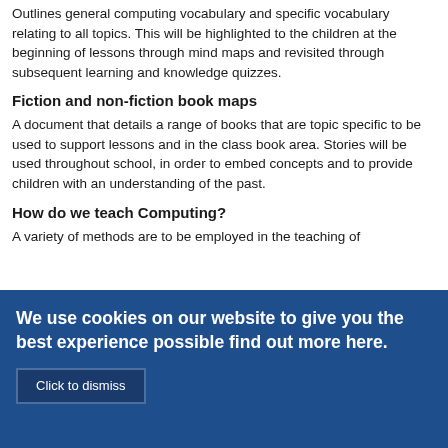Outlines general computing vocabulary and specific vocabulary relating to all topics. This will be highlighted to the children at the beginning of lessons through mind maps and revisited through subsequent learning and knowledge quizzes.
Fiction and non-fiction book maps
A document that details a range of books that are topic specific to be used to support lessons and in the class book area. Stories will be used throughout school, in order to embed concepts and to provide children with an understanding of the past.
How do we teach Computing?
A variety of methods are to be employed in the teaching of
We use cookies on our website to give you the best experience possible find out more here.
Click to dismiss